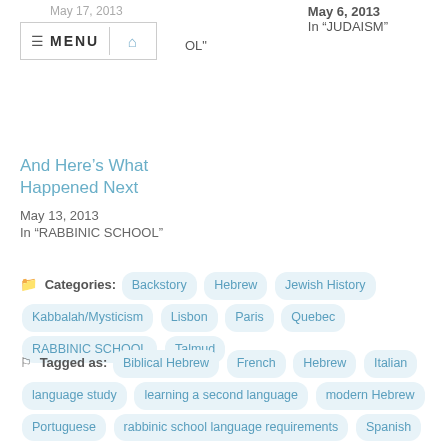May 17, 2013
May 6, 2013 In "JUDAISM"
And Here's What Happened Next
May 13, 2013
In "RABBINIC SCHOOL"
Categories: Backstory Hebrew Jewish History Kabbalah/Mysticism Lisbon Paris Quebec RABBINIC SCHOOL Talmud
Tagged as: Biblical Hebrew French Hebrew Italian language study learning a second language modern Hebrew Portuguese rabbinic school language requirements Spanish